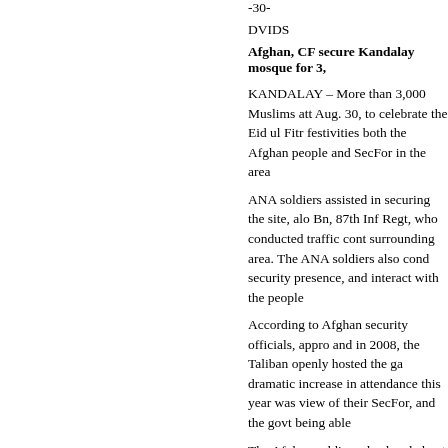-30-
DVIDS
Afghan, CF secure Kandalay mosque for 3,
KANDALAY – More than 3,000 Muslims att Aug. 30, to celebrate the Eid ul Fitr festivities both the Afghan people and SecFor in the area
ANA soldiers assisted in securing the site, alo Bn, 87th Inf Regt, who conducted traffic cont surrounding area. The ANA soldiers also cond security presence, and interact with the people
According to Afghan security officials, appro and in 2008, the Taliban openly hosted the ga dramatic increase in attendance this year was view of their SecFor, and the govt being able
The Afghan soldiers also handed out approx 5 cooking supplies.
The cmdr. of the 2nd Bn, 87th Inf. Regt., Lt. C the mosque was jovial and festive, with childr
Eid ul Fitr is a 3-day Muslim celebration mar During this time, Afghans visit with family ar religious services at mosques and town gathe
-30-